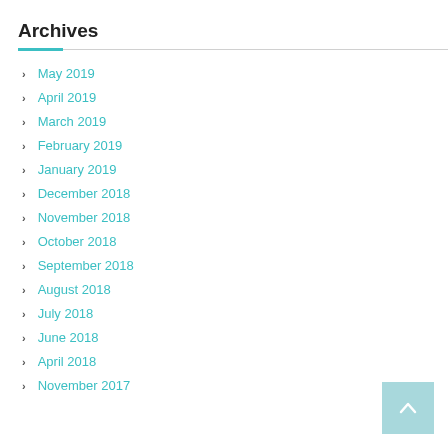Archives
May 2019
April 2019
March 2019
February 2019
January 2019
December 2018
November 2018
October 2018
September 2018
August 2018
July 2018
June 2018
April 2018
November 2017